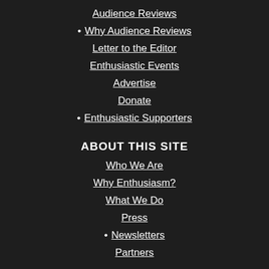Audience Reviews
• Why Audience Reviews
Letter to the Editor
Enthusiastic Events
Advertise
Donate
• Enthusiastic Supporters
ABOUT THIS SITE
Who We Are
Why Enthusiasm?
What We Do
Press
• Newsletters
Partners
RESOURCES